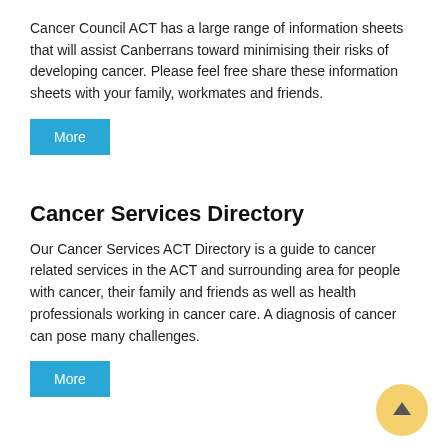Cancer Council ACT has a large range of information sheets that will assist Canberrans toward minimising their risks of developing cancer. Please feel free share these information sheets with your family, workmates and friends.
More
Cancer Services Directory
Our Cancer Services ACT Directory is a guide to cancer related services in the ACT and surrounding area for people with cancer, their family and friends as well as health professionals working in cancer care. A diagnosis of cancer can pose many challenges.
More
Share this page
Tweet | Share 0 | Email